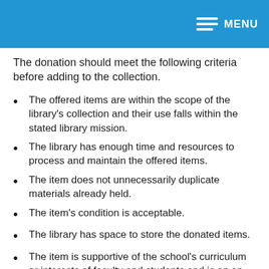MENU
The donation should meet the following criteria before adding to the collection.
The offered items are within the scope of the library's collection and their use falls within the stated library mission.
The library has enough time and resources to process and maintain the offered items.
The item does not unnecessarily duplicate materials already held.
The item's condition is acceptable.
The library has space to store the donated items.
The item is supportive of the school's curriculum or interests of faculty and students and is on an appropriate elementary school academic level.